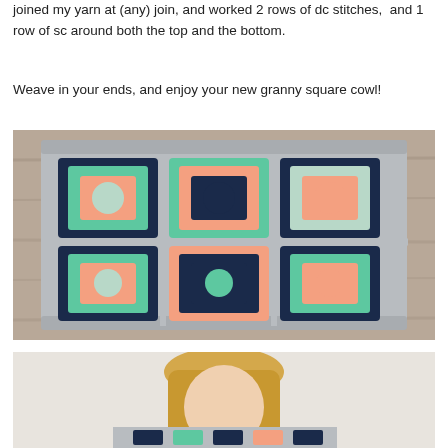joined my yarn at (any) join, and worked 2 rows of dc stitches,  and 1 row of sc around both the top and the bottom.
Weave in your ends, and enjoy your new granny square cowl!
[Figure (photo): A flat-lay photo of a crocheted granny square cowl showing 6 granny squares (2 rows x 3 columns) in grey, navy, mint/green, and peach/salmon colors, laid on a wooden surface.]
[Figure (photo): Partial photo of a person (blonde hair visible) wearing the granny square cowl, cut off at bottom of page.]